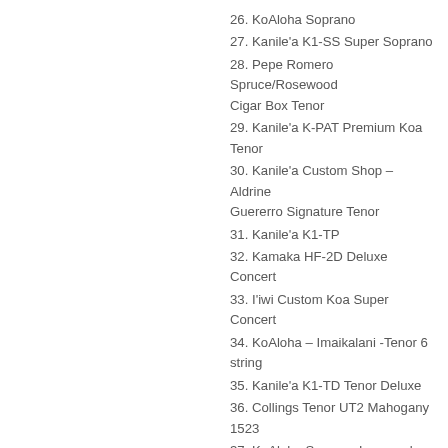26. KoAloha Soprano
27. Kanile'a K1-SS Super Soprano
28. Pepe Romero Spruce/Rosewood Cigar Box Tenor
29. Kanile'a K-PAT Premium Koa Tenor
30. Kanile'a Custom Shop – Aldrine Guererro Signature Tenor
31. Kanile'a K1-TP
32. Kamaka HF-2D Deluxe Concert
33. I'iwi Custom Koa Super Concert
34. KoAloha – Imaikalani -Tenor 6 string
35. Kanile'a K1-TD Tenor Deluxe
36. Collings Tenor UT2 Mahogany 1523
37. KoAloha Soprano Longneck KSM-02
38. Blackbird Clara
39. Kanile'a K1-CD
40. Collings Concert UC3K SB
41. KoAloha Concert
42. Asturias “Solo” Soprano-Concert